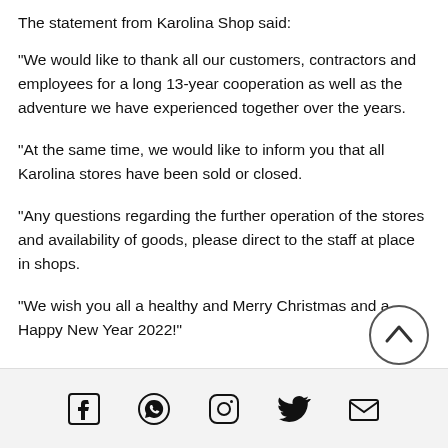The statement from Karolina Shop said:
“We would like to thank all our customers, contractors and employees for a long 13-year cooperation as well as the adventure we have experienced together over the years.
“At the same time, we would like to inform you that all Karolina stores have been sold or closed.
“Any questions regarding the further operation of the stores and availability of goods, please direct to the staff at place in shops.
“We wish you all a healthy and Merry Christmas and a Happy New Year 2022!”
[Figure (other): Scroll-to-top button: circle with upward chevron arrow]
Social media icons: Facebook, WhatsApp, Instagram, Twitter, Email